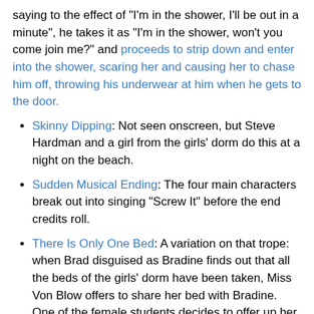saying to the effect of "I'm in the shower, I'll be out in a minute", he takes it as "I'm in the shower, won't you come join me?" and proceeds to strip down and enter into the shower, scaring her and causing her to chase him off, throwing his underwear at him when he gets to the door.
Skinny Dipping: Not seen onscreen, but Steve Hardman and a girl from the girls' dorm do this at a night on the beach.
Sudden Musical Ending: The four main characters break out into singing "Screw It" before the end credits roll.
There Is Only One Bed: A variation on that trope: when Brad disguised as Bradine finds out that all the beds of the girls' dorm have been taken, Miss Von Blow offers to share her bed with Bradine. One of the female students decides to offer up her bed to share with Bradine, but only on the grounds that there is no "funny stuff" going on in the bed. As it turns out, though, Bradine and the female student end up kissing each other in bed, which is when